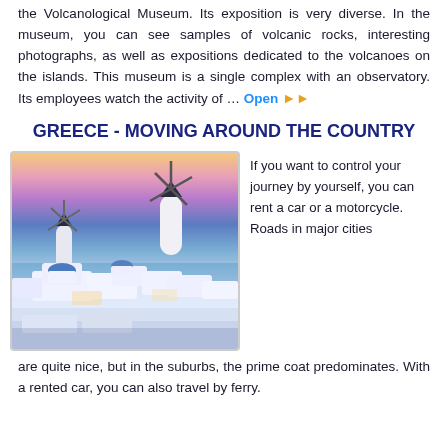the Volcanological Museum. Its exposition is very diverse. In the museum, you can see samples of volcanic rocks, interesting photographs, as well as expositions dedicated to the volcanoes on the islands. This museum is a single complex with an observatory. Its employees watch the activity of … Open ▶▶
GREECE - MOVING AROUND THE COUNTRY
[Figure (photo): Scenic twilight view of Santorini, Greece, with white-washed buildings, blue domes, and a windmill against a colorful sunset sky over the sea.]
If you want to control your journey by yourself, you can rent a car or a motorcycle. Roads in major cities are quite nice, but in the suburbs, the prime coat predominates. With a rented car, you can also travel by ferry.